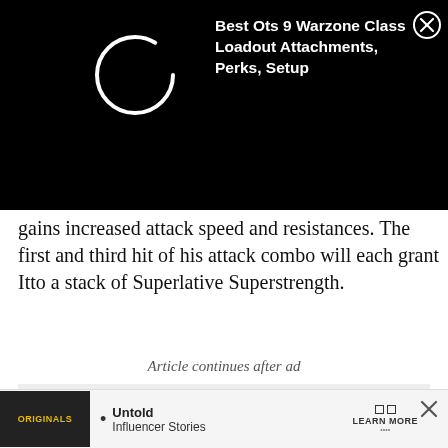[Figure (screenshot): Top ad banner with black background, circular spinner/loading icon on left, and ad title 'Best Ots 9 Warzone Class Loadout Attachments, Perks, Setup' on right with close X button]
gains increased attack speed and resistances. The first and third hit of his attack combo will each grant Itto a stack of Superlative Superstrength.
Article continues after ad
[Figure (screenshot): Advertisement section with dark background showing 'ADVERTISEMENT' label and 'LIVE ON' text with partial 'DA' logo visible below]
[Figure (screenshot): Bottom banner ad: Originals logo on left, 'Untold Influencer Stories' text in middle, 'LEARN MORE' button on right, with X close button]